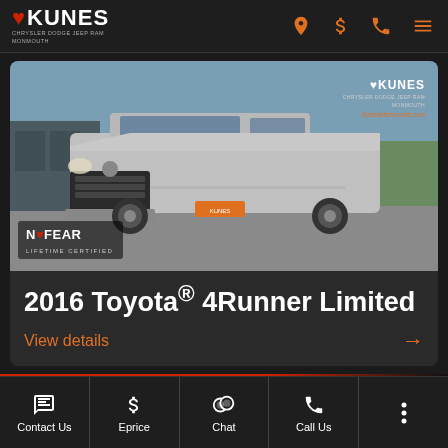KUNES CHRYSLER DODGE JEEP RAM MONMOUTH
[Figure (photo): 2016 Toyota 4Runner Limited silver SUV parked at Kunes Chrysler Dodge Jeep Ram Monmouth dealership lot, with No Fear Lifetime Certified badge and Kunes watermark logo and KunesMonmouth.com URL]
2016 Toyota® 4Runner Limited
View details →
Contact Us | Eprice | Chat | Call Us | More